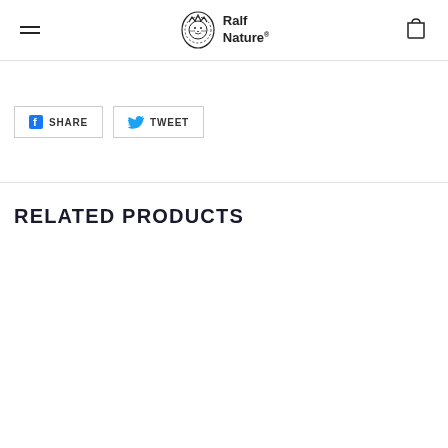Ralf Nature
[Figure (logo): Ralf Nature logo with lion crest illustration and brand name]
[Figure (other): Social share buttons: Facebook SHARE and Twitter TWEET]
RELATED PRODUCTS